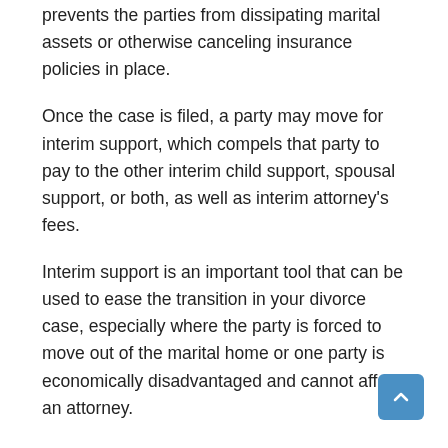prevents the parties from dissipating marital assets or otherwise canceling insurance policies in place.
Once the case is filed, a party may move for interim support, which compels that party to pay to the other interim child support, spousal support, or both, as well as interim attorney’s fees.
Interim support is an important tool that can be used to ease the transition in your divorce case, especially where the party is forced to move out of the marital home or one party is economically disadvantaged and cannot afford an attorney.
There is a significant discovery that takes place in divorce cases. Discovery is mandatory disclosure